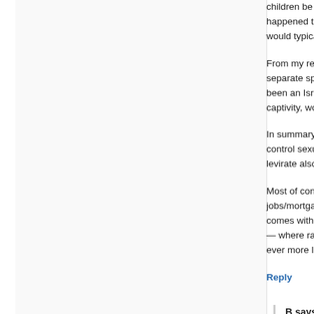children be born slaves, unless it happens to happened throughout history). In those cases would typically either free the child or not consi
From my reading, In Judea, a slave woma separate species (a slave), outside of Israelit been an Israelite before the acquisition). If fre captivity, would be classed as just above mamz
In summary: In terms of sexual behavior, a ma control sexuality of his legal wife than of his sla levirate also reflect that.
Most of contemporary Western society consis jobs/mortgages, then of their obsessions. The comes with it is an epiphenomenon. Or, possib — where rampant sexual liberty of women n ever more like slaves.
Reply
B says:
2017-06-13 at 10:47
>According to my knowledge, slave woma vis-a-vis both herself and, more importantly
Depends on the society. For instance, C from the 15th century onwards had a slave
>In Judea, a slave woman was considered